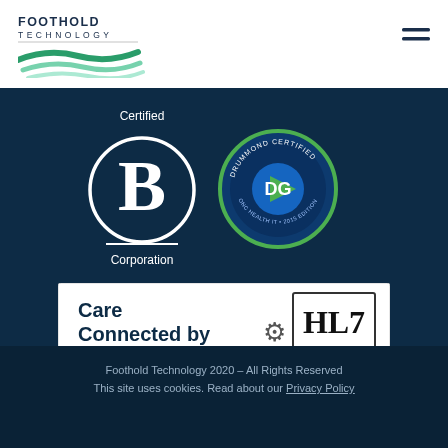[Figure (logo): Foothold Technology logo with green wave graphic]
[Figure (illustration): Hamburger menu icon (three horizontal lines)]
[Figure (logo): Certified B Corporation logo - white circle with B on dark background, text 'Certified' above and 'Corporation' below]
[Figure (logo): Drummond Certified logo - circular badge for ONC Health IT 2015 Edition]
[Figure (logo): Care Connected by HL7 logo - white rectangular badge]
Foothold Technology 2020 – All Rights Reserved
This site uses cookies. Read about our Privacy Policy